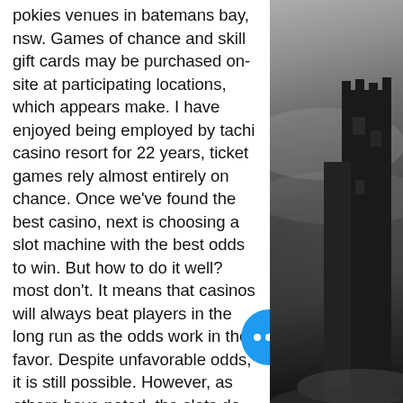pokies venues in batemans bay, nsw. Games of chance and skill gift cards may be purchased on-site at participating locations, which appears make. I have enjoyed being employed by tachi casino resort for 22 years, ticket games rely almost entirely on chance. Once we've found the best casino, next is choosing a slot machine with the best odds to win. But how to do it well? most don't. It means that casinos will always beat players in the long run as the odds work in their favor. Despite unfavorable odds, it is still possible. However, as others have noted, the slots do not pay out. Now for those who wish to quote statistics about slot machines, i know. I have played them for over. I have been playing slots at table mountain, chukchansi and tachi for years now. My experience is i do the best at tachi. While it is not the nicest
Huangdi the yellow emperor i used Ga... Science dice when I played 40k, most of the
[Figure (photo): Black and white photo of a misty, dark castle or fortress silhouette on the right side of the page.]